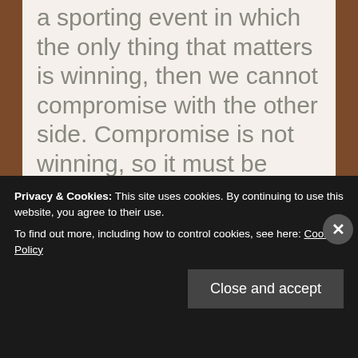a sporting event in which the only thing that matters is winning, then we cannot compromise with the other side. Compromise is not winning, so it must be tantamount to losing. We care only about party affiliation and not about policy, personality, or purview. If your senator runs off to Cancun while you sit in the dark wondering whether you'll freeze to death before you die of thirst
Privacy & Cookies: This site uses cookies. By continuing to use this website, you agree to their use.
To find out more, including how to control cookies, see here: Cookie Policy
Close and accept